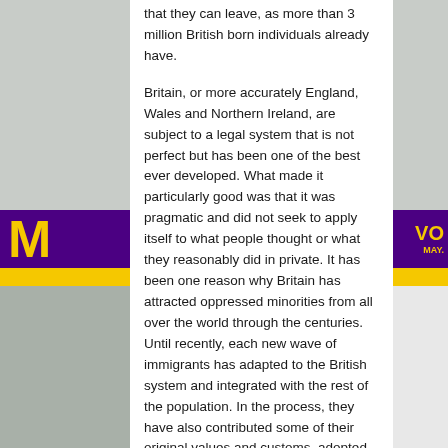that they can leave, as more than 3 million British born individuals already have.
Britain, or more accurately England, Wales and Northern Ireland, are subject to a legal system that is not perfect but has been one of the best ever developed. What made it particularly good was that it was pragmatic and did not seek to apply itself to what people thought or what they reasonably did in private. It has been one reason why Britain has attracted oppressed minorities from all over the world through the centuries. Until recently, each new wave of immigrants has adapted to the British system and integrated with the rest of the population. In the process, they have also contributed some of their original values and customs, adopted because those already indigenous to Britain were happy to adopt them. It would appear that this was the point Dr Williams was attempting to make – that not all of the Sharia is barbaric stone-age rantings and some aspects might be beneficially adopted.
Common Law gives a basis of common sense.